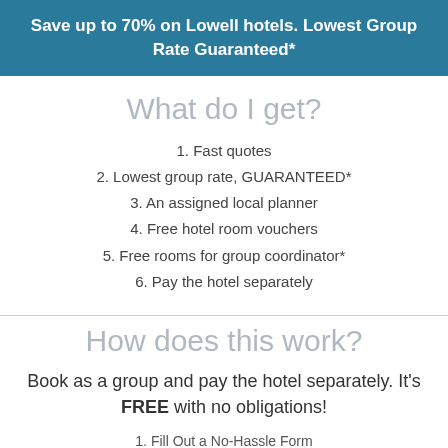Save up to 70% on Lowell hotels. Lowest Group Rate Guaranteed*
What do I get?
1. Fast quotes
2. Lowest group rate, GUARANTEED*
3. An assigned local planner
4. Free hotel room vouchers
5. Free rooms for group coordinator*
6. Pay the hotel separately
How does this work?
Book as a group and pay the hotel separately. It's FREE with no obligations!
1. Fill Out a No-Hassle Form